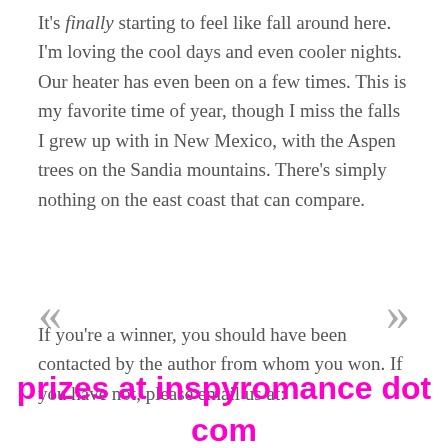It's finally starting to feel like fall around here. I'm loving the cool days and even cooler nights. Our heater has even been on a few times. This is my favorite time of year, though I miss the falls I grew up with in New Mexico, with the Aspen trees on the Sandia mountains. There's simply nothing on the east coast that can compare.
If you're a winner, you should have been contacted by the author from whom you won. If you have not, please email us at:
prizes at inspyromance dot com